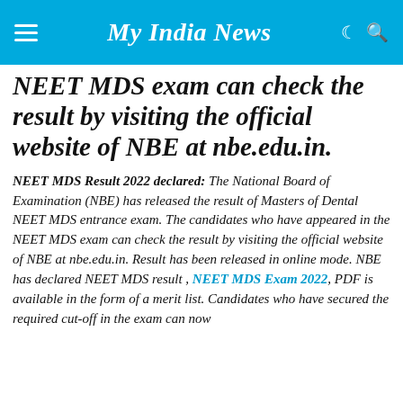My India News
NEET MDS exam can check the result by visiting the official website of NBE at nbe.edu.in.
NEET MDS Result 2022 declared: The National Board of Examination (NBE) has released the result of Masters of Dental NEET MDS entrance exam. The candidates who have appeared in the NEET MDS exam can check the result by visiting the official website of NBE at nbe.edu.in. Result has been released in online mode. NBE has declared NEET MDS result , NEET MDS Exam 2022, PDF is available in the form of a merit list. Candidates who have secured the required cut-off in the exam can now